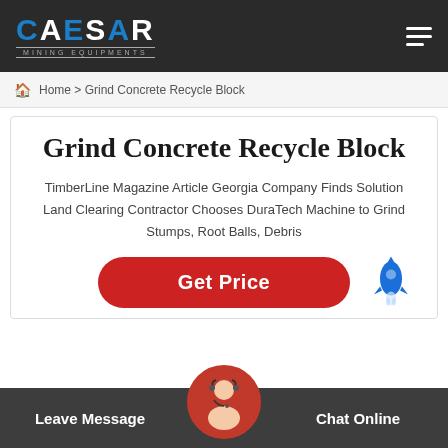CAESAR MINING EQUIPMENTS
Home > Grind Concrete Recycle Block
Grind Concrete Recycle Block
TimberLine Magazine Article Georgia Company Finds Solution Land Clearing Contractor Chooses DuraTech Machine to Grind Stumps, Root Balls, Debris
Get Price
Leave Message  Chat Online